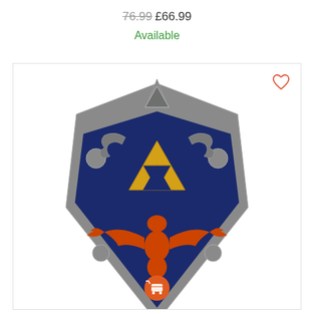76.99 £66.99
Available
[Figure (photo): Product photo of a Legend of Zelda Hylian Shield replica. The shield is dark navy blue with a silver metallic border featuring decorative corner pieces. It displays the golden Triforce symbol in the upper center and a red/orange Hylian Royal Crest (bird emblem) on the lower half. An orange circular cart/gift icon badge is visible near the bottom center.]